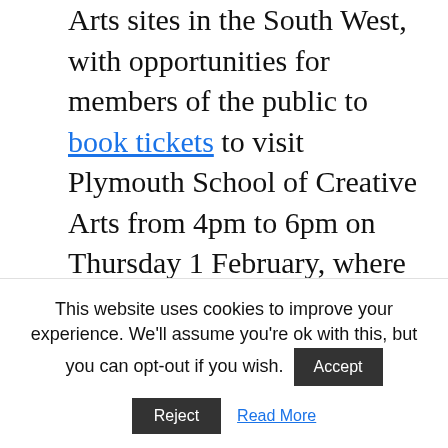Arts sites in the South West, with opportunities for members of the public to book tickets to visit Plymouth School of Creative Arts from 4pm to 6pm on Thursday 1 February, where there'll be live music, a pop-up restaurant and students of all ages leading a variety of interactive art installations and experiences, all inspired by the theme of 'production'.
[Figure (illustration): Purple/indigo banner advertisement for 'Support Exeter' featuring a white t-shirt in the center and orange text on the left reading 'Support Exeter' and text on the right reading 'Don't just show your']
This website uses cookies to improve your experience. We'll assume you're ok with this, but you can opt-out if you wish. Accept Reject Read More